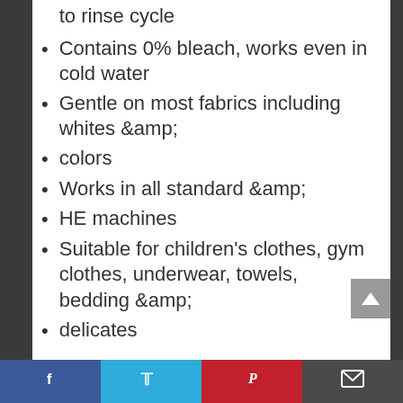to rinse cycle
Contains 0% bleach, works even in cold water
Gentle on most fabrics including whites &amp;
colors
Works in all standard &amp;
HE machines
Suitable for children’s clothes, gym clothes, underwear, towels, bedding &amp;
delicates
Facebook | Twitter | Pinterest | Email